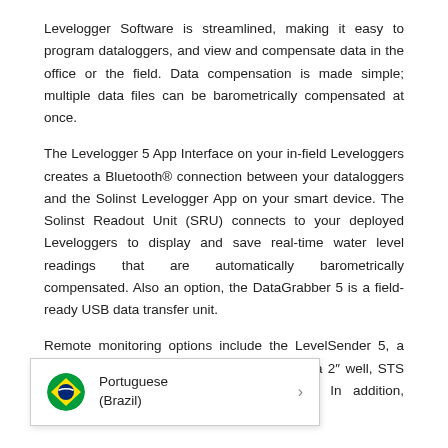Levelogger Software is streamlined, making it easy to program dataloggers, and view and compensate data in the office or the field. Data compensation is made simple; multiple data files can be barometrically compensated at once.
The Levelogger 5 App Interface on your in-field Leveloggers creates a Bluetooth® connection between your dataloggers and the Solinst Levelogger App on your smart device. The Solinst Readout Unit (SRU) connects to your deployed Leveloggers to display and save real-time water level readings that are automatically barometrically compensated. Also an option, the DataGrabber 5 is a field-ready USB data transfer unit.
Remote monitoring options include the LevelSender 5, a simple and compact device that fits right in a 2″ well, STS Telemetry te Radio Link. In addition, Levelogger 12 compatible.
[Figure (infographic): Popup tooltip showing Brazilian flag icon and text 'Portuguese (Brazil)' with a right-pointing chevron arrow]